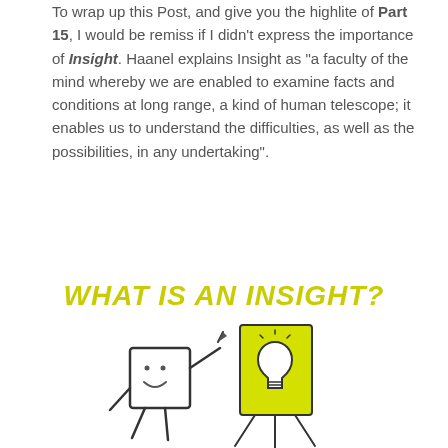To wrap up this Post, and give you the highlite of Part 15, I would be remiss if I didn't express the importance of Insight. Haanel explains Insight as "a faculty of the mind whereby we are enabled to examine facts and conditions at long range, a kind of human telescope; it enables us to understand the difficulties, as well as the possibilities, in any undertaking".
WHAT IS AN INSIGHT?
[Figure (illustration): Cartoon illustration of two characters: a white square figure with a face pointing at a yellow board/easel that has a lightbulb drawn on it]